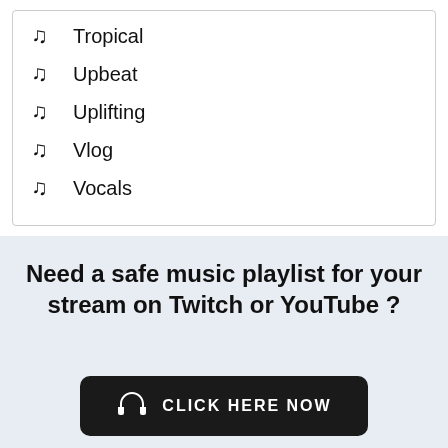Tropical
Upbeat
Uplifting
Vlog
Vocals
Need a safe music playlist for your stream on Twitch or YouTube ?
CLICK HERE NOW